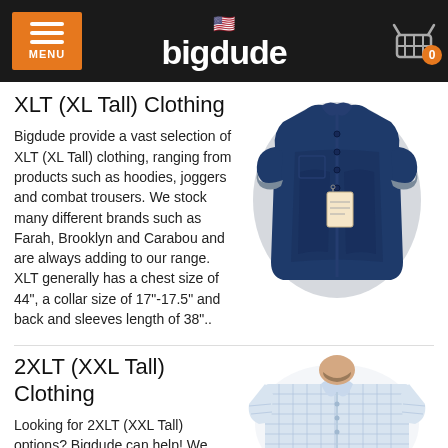bigdude — MENU / cart 0
XLT (XL Tall) Clothing
Bigdude provide a vast selection of XLT (XL Tall) clothing, ranging from products such as hoodies, joggers and combat trousers. We stock many different brands such as Farah, Brooklyn and Carabou and are always adding to our range. XLT generally has a chest size of 44", a collar size of 17"-17.5" and back and sleeves length of 38"..
[Figure (photo): Dark blue denim short-sleeve shirt with a price tag]
2XLT (XXL Tall) Clothing
Looking for 2XLT (XXL Tall) options? Bigdude can help! We provide many items and brands in 2XLT, such as
[Figure (photo): Man wearing a light blue checked short-sleeve shirt]